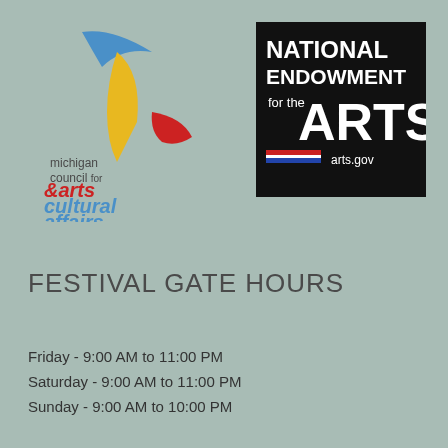[Figure (logo): Michigan Council for Arts & Cultural Affairs logo with bird graphic in blue, yellow, and red]
[Figure (logo): National Endowment for the Arts logo on black background with text 'NATIONAL ENDOWMENT for the ARTS arts.gov' and red/white/blue stripe]
FESTIVAL GATE HOURS
Friday - 9:00 AM to 11:00 PM
Saturday - 9:00 AM to 11:00 PM
Sunday - 9:00 AM to 10:00 PM